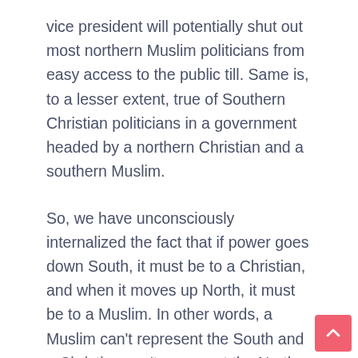vice president will potentially shut out most northern Muslim politicians from easy access to the public till. Same is, to a lesser extent, true of Southern Christian politicians in a government headed by a northern Christian and a southern Muslim.
So, we have unconsciously internalized the fact that if power goes down South, it must be to a Christian, and when it moves up North, it must be to a Muslim. In other words, a Muslim can't represent the South and a Christian can't represent the North.
That's a needlessly self-created political prison tha